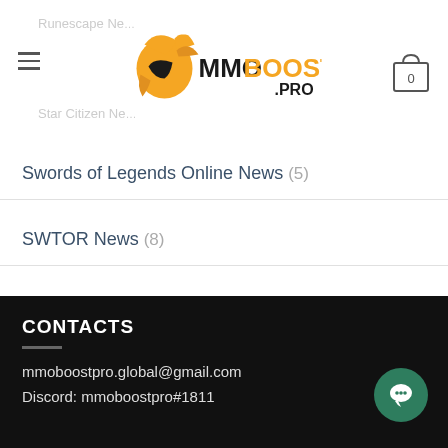MMOBoost.Pro - Runescape News, Star Citizen News
Swords of Legends Online News (5)
SWTOR News (8)
Warframe News (6)
World of Warcraft News (90)
CONTACTS
mmoboostpro.global@gmail.com
Discord: mmoboostpro#1811